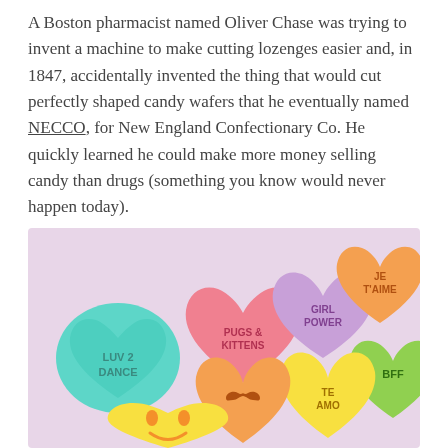A Boston pharmacist named Oliver Chase was trying to invent a machine to make cutting lozenges easier and, in 1847, accidentally invented the thing that would cut perfectly shaped candy wafers that he eventually named NECCO, for New England Confectionary Co. He quickly learned he could make more money selling candy than drugs (something you know would never happen today).
[Figure (photo): Photo of colorful heart-shaped candy conversation hearts on a light purple background. Hearts display messages: LUV 2 DANCE (teal), PUGS & KITTENS (pink), GIRL POWER (purple), JE T'AIME (orange), BFF (green), TE AMO (yellow), a mustache symbol (orange), and a smiley face (yellow).]